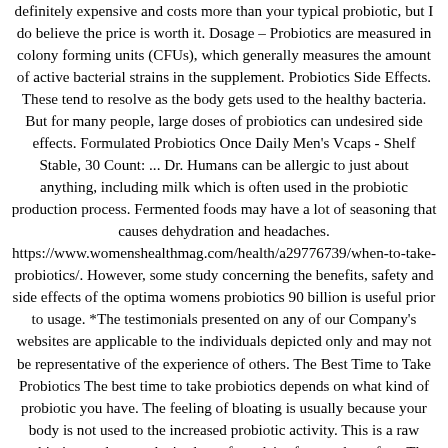definitely expensive and costs more than your typical probiotic, but I do believe the price is worth it. Dosage – Probiotics are measured in colony forming units (CFUs), which generally measures the amount of active bacterial strains in the supplement. Probiotics Side Effects. These tend to resolve as the body gets used to the healthy bacteria. But for many people, large doses of probiotics can undesired side effects. Formulated Probiotics Once Daily Men's Vcaps - Shelf Stable, 30 Count: ... Dr. Humans can be allergic to just about anything, including milk which is often used in the probiotic production process. Fermented foods may have a lot of seasoning that causes dehydration and headaches. https://www.womenshealthmag.com/health/a29776739/when-to-take-probiotics/. However, some study concerning the benefits, safety and side effects of the optima womens probiotics 90 billion is useful prior to usage. *The testimonials presented on any of our Company's websites are applicable to the individuals depicted only and may not be representative of the experience of others. The Best Time to Take Probiotics The best time to take probiotics depends on what kind of probiotic you have. The feeling of bloating is usually because your body is not used to the increased probiotic activity. This is a raw probiotic supplement that's gluten free, dairy free, and soy free. The capsules themselves are a bit larger but they do contain a ton of ingredients, so it makes sense they'd be bigger in size. 5 – 10 billion. To buy Garden of Life Dr. You just take 1 capsule daily, so the bottle lasts 1 month. Reduced inflammation in